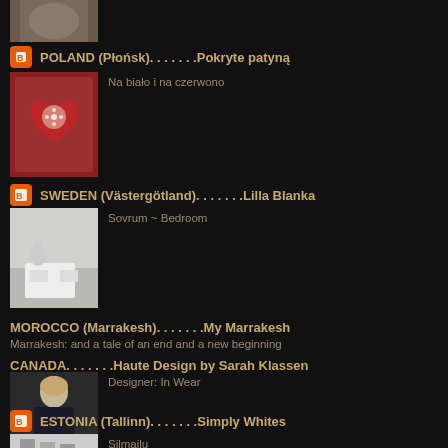[Figure (photo): Partial thumbnail photo at top of page]
POLAND (Płońsk). . . . . . .Pokryte patyną
Na biało i na czerwono
[Figure (photo): Red and white decorative heart pattern]
SWEDEN (Västergötland). . . . . . .Lilla Blanka
Sovrum ~ Bedroom
[Figure (photo): White bedroom furniture scene]
MOROCCO (Marrakesh). . . . . . .My Marrakesh
Marrakesh: and a tale of an end and a new beginning
CANADA. . . . . . .Haute Design by Sarah Klassen
Designer: In Wear
[Figure (photo): Woman in dark jacket fashion photo]
ESTONIA (Tallinn). . . . . . .Simply Whites
Silmailu
[Figure (photo): Partial thumbnail at bottom of page]